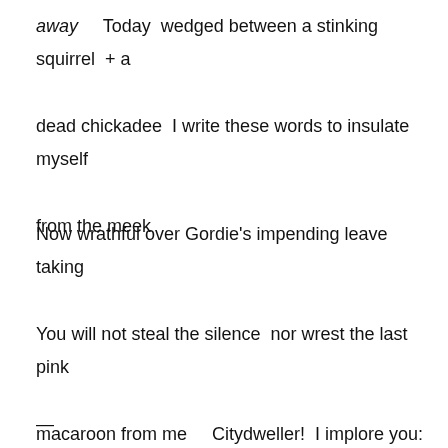away    Today  wedged between a stinking squirrel  + a dead chickadee  I write these words to insulate myself from the meek
Now wrathful over Gordie's impending leave taking
You will not steal the silence  nor wrest the last pink macaroon from me    Citydweller!  I implore you:
Do not dwell on being free
—